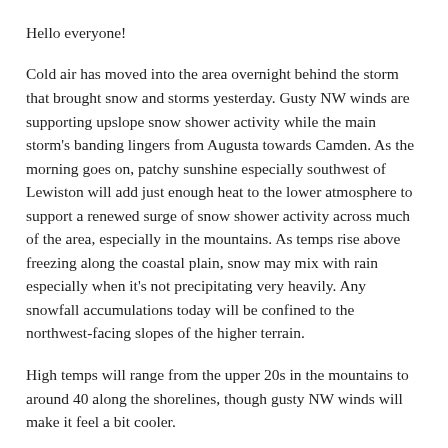Hello everyone!
Cold air has moved into the area overnight behind the storm that brought snow and storms yesterday. Gusty NW winds are supporting upslope snow shower activity while the main storm's banding lingers from Augusta towards Camden. As the morning goes on, patchy sunshine especially southwest of Lewiston will add just enough heat to the lower atmosphere to support a renewed surge of snow shower activity across much of the area, especially in the mountains. As temps rise above freezing along the coastal plain, snow may mix with rain especially when it's not precipitating very heavily. Any snowfall accumulations today will be confined to the northwest-facing slopes of the higher terrain.
High temps will range from the upper 20s in the mountains to around 40 along the shorelines, though gusty NW winds will make it feel a bit cooler.